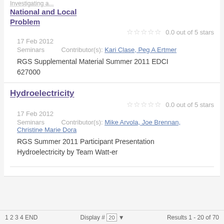Investigating a...
National and Local Problem
0.0 out of 5 stars
17 Feb 2012
Seminars   Contributor(s): Kari Clase, Peg A Ertmer
RGS Supplemental Material Summer 2011 EDCI 627000
Hydroelectricity
0.0 out of 5 stars
17 Feb 2012
Seminars   Contributor(s): Mike Arvola, Joe Brennan, Christine Marie Dora
RGS Summer 2011 Participant Presentation Hydroelectricity by Team Watt-er
1 2 3 4 END   Display # 20   Results 1 - 20 of 70